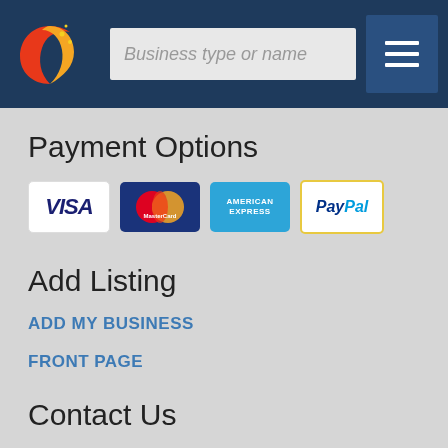Business type or name
Payment Options
[Figure (infographic): Payment option icons: VISA, MasterCard, American Express, PayPal]
Add Listing
ADD MY BUSINESS
FRONT PAGE
Contact Us
For enquiries please contact us
Subscribe to Accommodation Kalgoorlie
Cities
Latest News